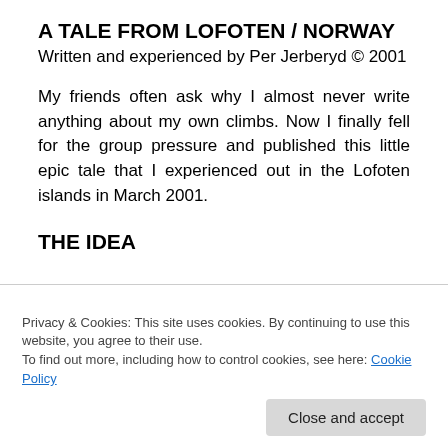A TALE FROM LOFOTEN / NORWAY
Written and experienced by Per Jerberyd © 2001
My friends often ask why I almost never write anything about my own climbs. Now I finally fell for the group pressure and published this little epic tale that I experienced out in the Lofoten islands in March 2001.
THE IDEA
[Figure (map): Partial map image of Norway/Lofoten islands showing coastline with green landmass on white background, framed with thick black border.]
After a week of glorious weather, our intention was to
Privacy & Cookies: This site uses cookies. By continuing to use this website, you agree to their use.
To find out more, including how to control cookies, see here: Cookie Policy